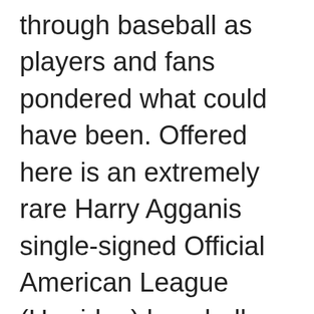through baseball as players and fans pondered what could have been. Offered here is an extremely rare Harry Agganis single-signed Official American League (Harridge) baseball certified by PSA DNA. Beautiful signature scripted